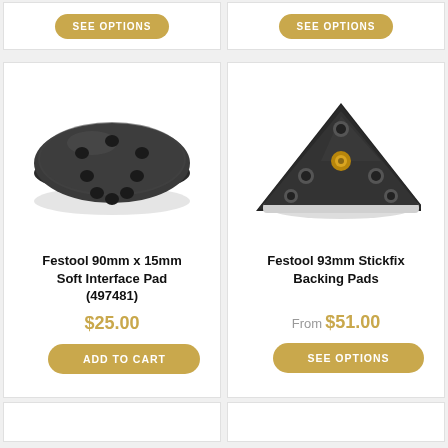[Figure (other): SEE OPTIONS button top left card (partial top of page)]
[Figure (other): SEE OPTIONS button top right card (partial top of page)]
[Figure (photo): Festool 90mm x 15mm Soft Interface Pad (497481) - circular dark grey foam pad with holes]
Festool 90mm x 15mm Soft Interface Pad (497481)
$25.00
ADD TO CART
[Figure (photo): Festool 93mm Stickfix Backing Pads - triangular black sanding pad with holes]
Festool 93mm Stickfix Backing Pads
From $51.00
SEE OPTIONS